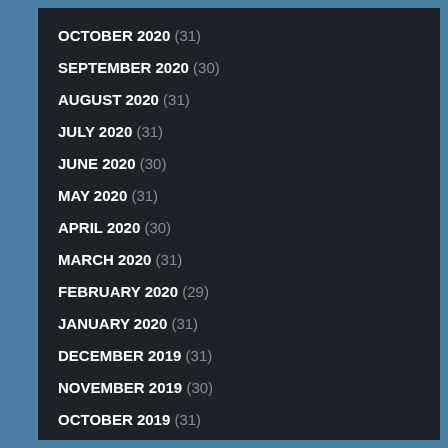OCTOBER 2020 (31)
SEPTEMBER 2020 (30)
AUGUST 2020 (31)
JULY 2020 (31)
JUNE 2020 (30)
MAY 2020 (31)
APRIL 2020 (30)
MARCH 2020 (31)
FEBRUARY 2020 (29)
JANUARY 2020 (31)
DECEMBER 2019 (31)
NOVEMBER 2019 (30)
OCTOBER 2019 (31)
SEPTEMBER 2019 (30)
AUGUST 2019 (31)